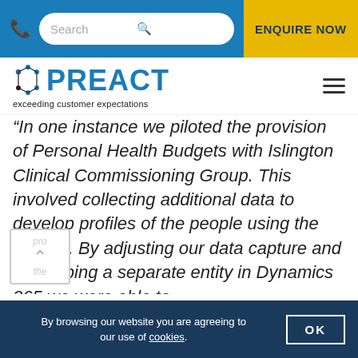Search | ENQUIRE NOW
[Figure (logo): Preact logo with tagline 'exceeding customer expectations']
“In one instance we piloted the provision of Personal Health Budgets with Islington Clinical Commissioning Group. This involved collecting additional data to develop profiles of the people using the service. By adjusting our data capture and developing a separate entity in Dynamics 365 we were able to provide highly detailed feedback through to the programme steering committees. This is
By browsing our website you are agreeing to our use of cookies. OK